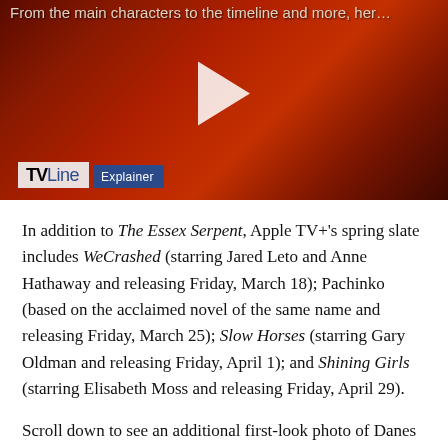[Figure (screenshot): Video thumbnail with dark reddish-brown cinematic still showing a figure, with a white play button triangle in the center, and TVLine Explainer badge in the lower left. Text at top reads 'From the main characters to the timeline and more, her...']
In addition to The Essex Serpent, Apple TV+'s spring slate includes WeCrashed (starring Jared Leto and Anne Hathaway and releasing Friday, March 18); Pachinko (based on the acclaimed novel of the same name and releasing Friday, March 25); Slow Horses (starring Gary Oldman and releasing Friday, April 1); and Shining Girls (starring Elisabeth Moss and releasing Friday, April 29).
Scroll down to see an additional first-look photo of Danes and Hiddleston side by side, then hit the comments and tell us if you'll be adding The Essex